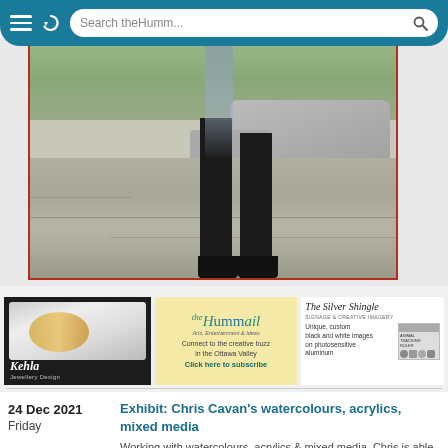Search theHumm...
[Figure (photo): Lower half of a person wearing black trousers and high heels standing on a stone patio with large boulders and greenery in background]
[Figure (photo): Kehla Jewellery Design advertisement showing rings on white fabric background]
[Figure (photo): The Hummail advertisement - Connect to the creative buzz in the Ottawa Valley. Click here to subscribe]
[Figure (photo): The Silver Shingle - Signage & Creative Imagery - Unique, custom black and white images on photosensitive aluminum]
24 Dec 2021
Friday
Exhibit: Chris Cavan's watercolours, acrylics, mixed media
Working with watercolours, acrylics & mixed media, Chris is able to translate her passion for natural elements into evocative & reflective works. Through her images we